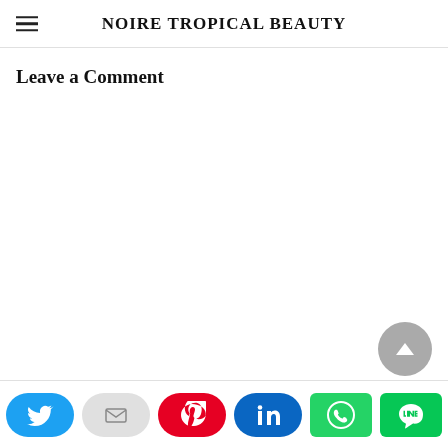NOIRE TROPICAL BEAUTY
Leave a Comment
Social share bar: Twitter, Email, Pinterest, LinkedIn, WhatsApp, LINE